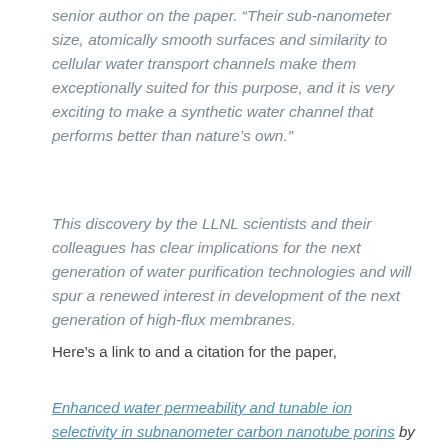senior author on the paper. “Their sub-nanometer size, atomically smooth surfaces and similarity to cellular water transport channels make them exceptionally suited for this purpose, and it is very exciting to make a synthetic water channel that performs better than nature’s own.”
This discovery by the LLNL scientists and their colleagues has clear implications for the next generation of water purification technologies and will spur a renewed interest in development of the next generation of high-flux membranes.
Here’s a link to and a citation for the paper,
Enhanced water permeability and tunable ion selectivity in subnanometer carbon nanotube porins by Ramya H.